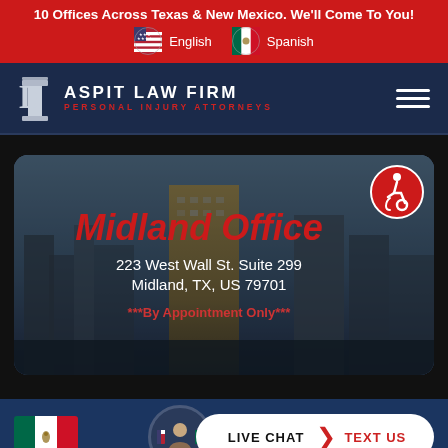10 Offices Across Texas & New Mexico. We'll Come To You!
English   Spanish
DASPIT LAW FIRM PERSONAL INJURY ATTORNEYS
[Figure (screenshot): Midland Office location card with city skyline background photo. Shows office title, address and appointment notice overlaid on a dark-tinted city building photograph.]
Midland Office
223 West Wall St. Suite 299
Midland, TX, US 79701
***By Appointment Only***
LIVE CHAT  TEXT US